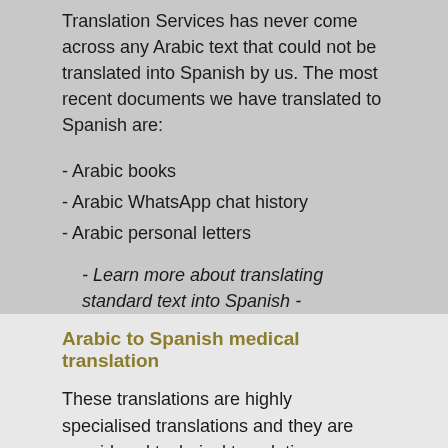Translation Services has never come across any Arabic text that could not be translated into Spanish by us. The most recent documents we have translated to Spanish are:
- Arabic books
- Arabic WhatsApp chat history
- Arabic personal letters
- Learn more about translating standard text into Spanish -
Arabic to Spanish medical translation
These translations are highly specialised translations and they are considered technical translations, requiring experienced and knowledgeable medical translation specialists. If you have a medical translation project, Edinburgh Translation Services has native Spanish-speaking